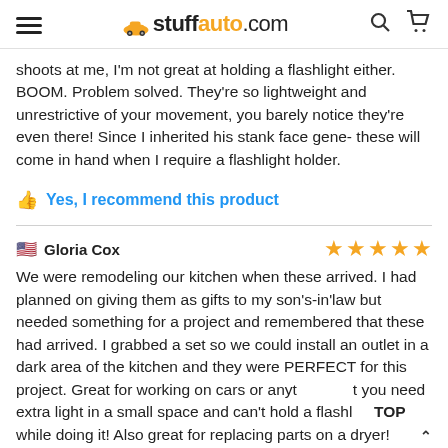stuffauto.com
shoots at me, I'm not great at holding a flashlight either. BOOM. Problem solved. They're so lightweight and unrestrictive of your movement, you barely notice they're even there! Since I inherited his stank face gene- these will come in hand when I require a flashlight holder.
Yes, I recommend this product
Gloria Cox — 5 stars
We were remodeling our kitchen when these arrived. I had planned on giving them as gifts to my son's-in'law but needed something for a project and remembered that these had arrived. I grabbed a set so we could install an outlet in a dark area of the kitchen and they were PERFECT for this project. Great for working on cars or anyt t you need extra light in a small space and can't hold a flashl TOP while doing it! Also great for replacing parts on a dryer! We've